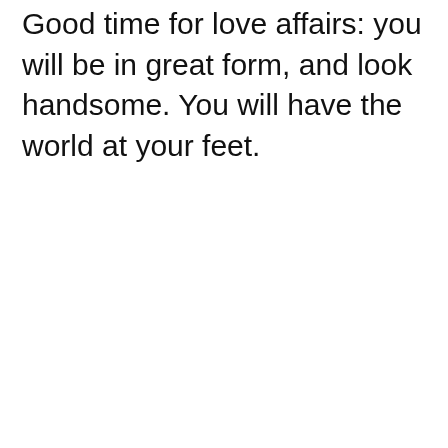Good time for love affairs: you will be in great form, and look handsome. You will have the world at your feet.